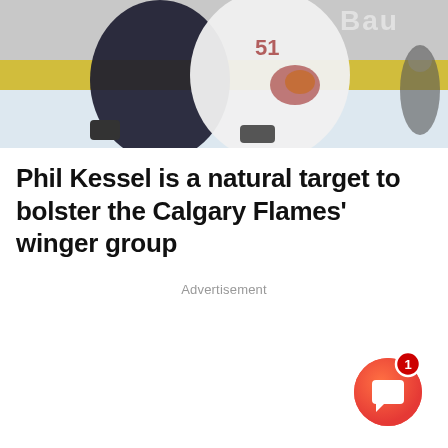[Figure (photo): Hockey players in action; one player in a white Arizona Coyotes jersey and another in a dark jersey, with a Bauer equipment logo visible in the background]
Phil Kessel is a natural target to bolster the Calgary Flames’ winger group
Advertisement